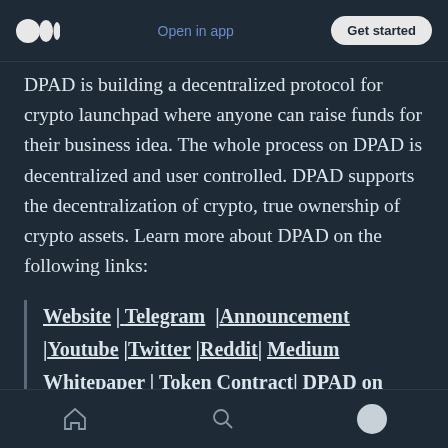Open in app | Get started
DPAD is building a decentralized protocol for crypto launchpad where anyone can raise funds for their business idea. The whole process on DPAD is decentralized and user controlled. DPAD supports the decentralization of crypto, true ownership of crypto assets. Learn more about DPAD on the following links:
Website | Telegram | Announcement | Youtube | Twitter | Reddit | Medium Whitepaper | Token Contract | DPAD on Bloomberg
Home | Search | Profile